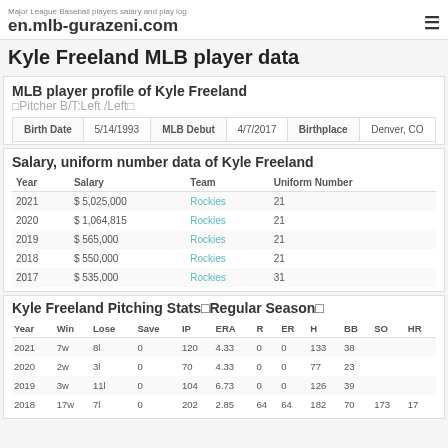Major League Baseball players salary and play log
en.mlb-gurazeni.com
Kyle Freeland MLB player data
MLB player profile of Kyle Freeland
⬜Pitcher B/T:Left /Left⬜
| Birth Date | 5/14/1993 | MLB Debut | 4/7/2017 | Birthplace | Denver, CO |
| --- | --- | --- | --- | --- | --- |
Salary, uniform number data of Kyle Freeland
| Year | Salary | Team | Uniform Number |
| --- | --- | --- | --- |
| 2021 | $ 5,025,000 | Rockies | 21 |
| 2020 | $ 1,064,815 | Rockies | 21 |
| 2019 | $ 565,000 | Rockies | 21 |
| 2018 | $ 550,000 | Rockies | 21 |
| 2017 | $ 535,000 | Rockies | 31 |
Kyle Freeland Pitching Stats⬜Regular Season⬜
| Year | Win | Lose | Save | IP | ERA | R | ER | H | BB | SO | HR |
| --- | --- | --- | --- | --- | --- | --- | --- | --- | --- | --- | --- |
| 2021 | 7w | 8l | 0 | 120 | 4.33 | 0 | 0 | 133 | 38 |  |  |
| 2020 | 2w | 3l | 0 | 70 | 4.33 | 0 | 0 | 77 | 23 |  |  |
| 2019 | 3w | 11l | 0 | 104 | 6.73 | 0 | 0 | 126 | 39 |  |  |
| 2018 | 17w | 7l | 0 | 202 | 2.85 | 64 | 64 | 182 | 70 | 173 | 17 |